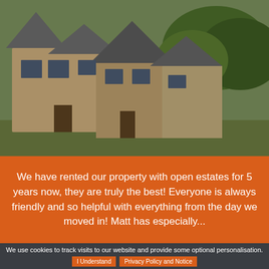[Figure (photo): Photograph of a traditional stone Cotswold-style house with grey/stone walls, pitched roofs, and green trees in the background, viewed from outside. Sky and garden visible.]
We have rented our property with open estates for 5 years now, they are truly the best! Everyone is always friendly and so helpful with everything from the day we moved in! Matt has especially...
We use cookies to track visits to our website and provide some optional personalisation.
I Understand
Privacy Policy and Notice